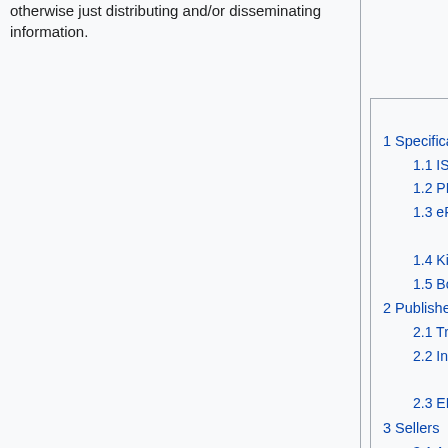otherwise just distributing and/or disseminating information.
Contents [hide]
1 Specifications
1.1 ISBN
1.2 PDF
1.3 ePub
1.3.1 iBook
1.4 Kindle
1.5 Book Covers
2 Publishers
2.1 Traditional
2.2 Independent
2.2.1 Comic Books
2.3 EBook
3 Sellers
3.1 Amazon
3.2 eBay
3.3 Apple (iTunes)
3.4 Sony (eReader)